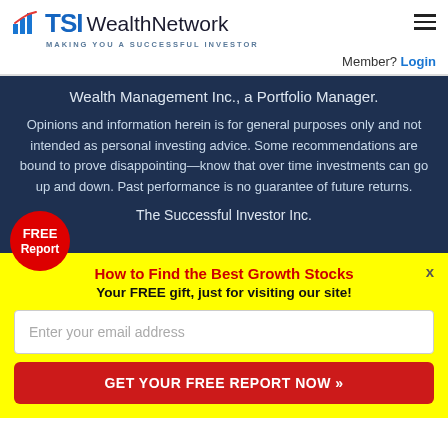[Figure (logo): TSI Wealth Network logo with bar chart icon and tagline MAKING YOU A SUCCESSFUL INVESTOR]
Member? Login
Wealth Management Inc., a Portfolio Manager.
Opinions and information herein is for general purposes only and not intended as personal investing advice. Some recommendations are bound to prove disappointing—know that over time investments can go up and down. Past performance is no guarantee of future returns.
The Successful Investor Inc.
FREE Report
How to Find the Best Growth Stocks
Your FREE gift, just for visiting our site!
Enter your email address
GET YOUR FREE REPORT NOW »